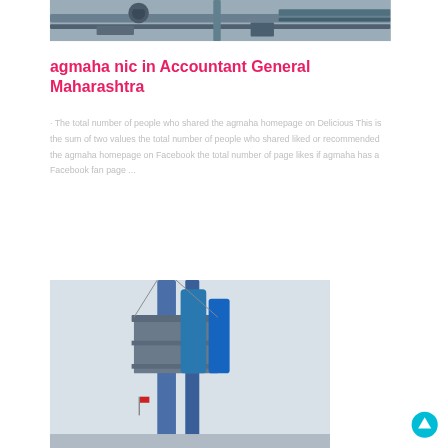[Figure (photo): Industrial machinery with pipes and equipment, photographed in a facility, partially visible at top of page]
agmaha nic in Accountant General Maharashtra
· The total number of people who shared the agmaha homepage on Delicious This is the sum of two values the total number of people who shared liked or recommended the agmaha homepage on Facebook the total number of page likes if agmaha has a Facebook fan page ...
[Figure (photo): Industrial tower or chimney structure with blue tanks/silos visible, photographed against a grey sky, partially visible at bottom of page]